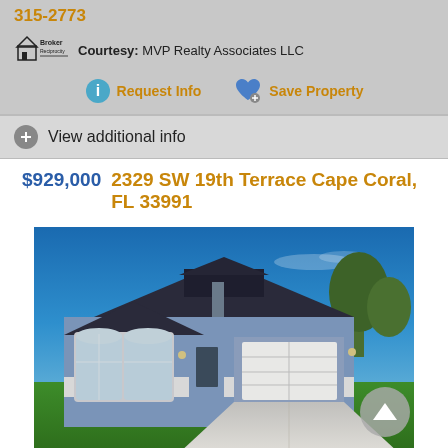315-2773
Courtesy: MVP Realty Associates LLC
Request Info
Save Property
View additional info
$929,000  2329 SW 19th Terrace Cape Coral, FL 33991
[Figure (photo): Exterior photo of a blue stucco single-story home with dark roof, arched windows, two-car garage, and concrete driveway with green lawn. Blue sky background.]